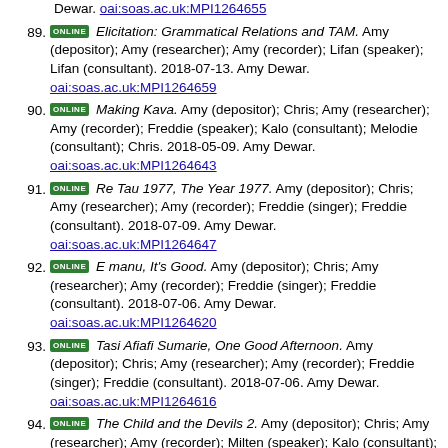Dewar. oai:soas.ac.uk:MPI1264655
89. [ONLINE] Elicitation: Grammatical Relations and TAM. Amy (depositor); Amy (researcher); Amy (recorder); Lifan (speaker); Lifan (consultant). 2018-07-13. Amy Dewar. oai:soas.ac.uk:MPI1264659
90. [ONLINE] Making Kava. Amy (depositor); Chris; Amy (researcher); Amy (recorder); Freddie (speaker); Kalo (consultant); Melodie (consultant); Chris. 2018-05-09. Amy Dewar. oai:soas.ac.uk:MPI1264643
91. [ONLINE] Re Tau 1977, The Year 1977. Amy (depositor); Chris; Amy (researcher); Amy (recorder); Freddie (singer); Freddie (consultant). 2018-07-09. Amy Dewar. oai:soas.ac.uk:MPI1264647
92. [ONLINE] E manu, It's Good. Amy (depositor); Chris; Amy (researcher); Amy (recorder); Freddie (singer); Freddie (consultant). 2018-07-06. Amy Dewar. oai:soas.ac.uk:MPI1264620
93. [ONLINE] Tasi Afiafi Sumarie, One Good Afternoon. Amy (depositor); Chris; Amy (researcher); Amy (recorder); Freddie (singer); Freddie (consultant). 2018-07-06. Amy Dewar. oai:soas.ac.uk:MPI1264616
94. [ONLINE] The Child and the Devils 2. Amy (depositor); Chris; Amy (researcher); Amy (recorder); Milten (speaker); Kalo (consultant); Melodie (consultant). 2018-09-16. Amy Dewar. oai:soas.ac.uk:MPI1267569
95. [ONLINE] Samoana 2. Amy (depositor); Chris; Amy (researcher); Amy (recorder); Daniel (speaker); Kalo (consultant); Melodie (consultant). 2018-06-15. Amy Dewar. oai:soas.ac.uk:MPI1267578